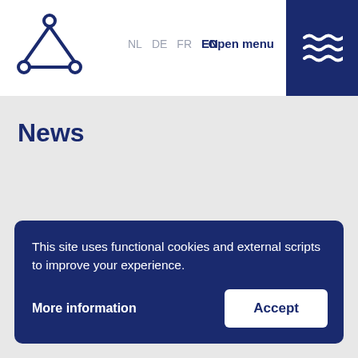[Figure (logo): Blue triangle logo with three circles at vertices]
NL  DE  FR  EN    Open menu
News
This site uses functional cookies and external scripts to improve your experience.
More information
Accept